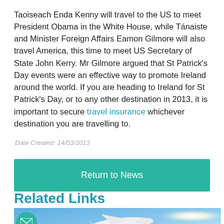Taoiseach Enda Kenny will travel to the US to meet President Obama in the White House, while Tánaiste and Minister Foreign Affairs Eamon Gilmore will also travel America, this time to meet US Secretary of State John Kerry. Mr Gilmore argued that St Patrick's Day events were an effective way to promote Ireland around the world. If you are heading to Ireland for St Patrick's Day, or to any other destination in 2013, it is important to secure travel insurance whichever destination you are travelling to.
Date Created: 14/03/2013
Return to News
Related Links
[Figure (photo): Airplane flying against a blue sky with sunlight, with a teal email icon circle overlay on the left side.]